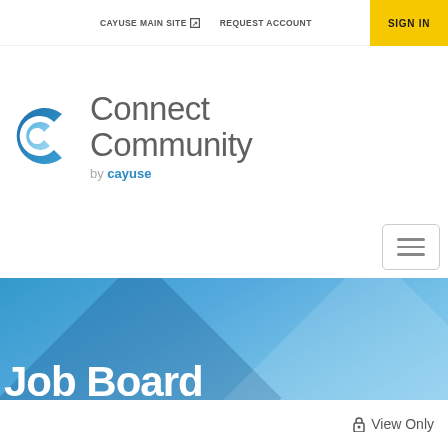CAYUSE MAIN SITE  REQUEST ACCOUNT  SIGN IN
[Figure (logo): Connect Community by cayuse logo with blue circular interlocking C icons]
Connect Community by cayuse
[Figure (other): Hamburger menu button with three horizontal lines]
Job Board
View Only